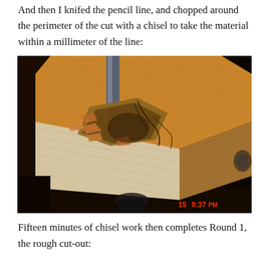And then I knifed the pencil line, and chopped around the perimeter of the cut with a chisel to take the material within a millimeter of the line:
[Figure (photo): A photograph of a wood block being worked with a chisel, showing rough chisel cuts around the perimeter of a cut-out area. The wood shows the rough cut-out in progress. Camera timestamp shows '15 9:37PM' in red.]
Fifteen minutes of chisel work then completes Round 1, the rough cut-out: